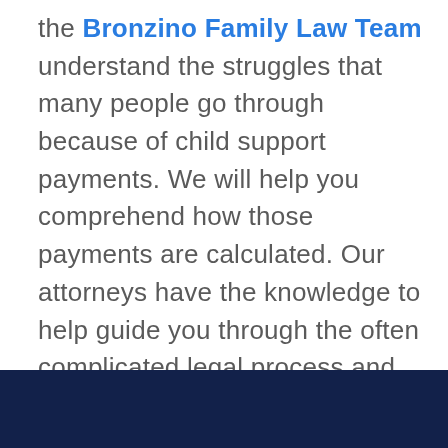the Bronzino Family Law Team understand the struggles that many people go through because of child support payments. We will help you comprehend how those payments are calculated. Our attorneys have the knowledge to help guide you through the often complicated legal process and provide client-centered counsel every step of the way. To speak with to us today in a free and confidential consultation, please contact us online or through our Brick, NJ offices at (732) 812-3102.